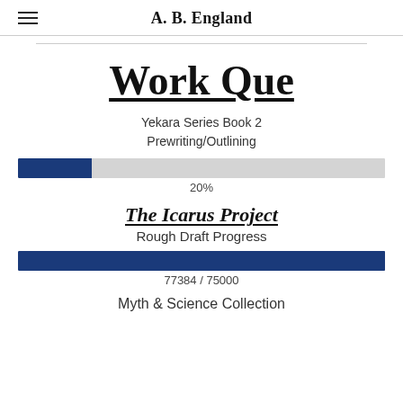A. B. England
Work Que
Yekara Series Book 2
Prewriting/Outlining
[Figure (bar-chart): Yekara Series Book 2 Progress]
20%
The Icarus Project
Rough Draft Progress
[Figure (bar-chart): The Icarus Project Progress]
77384 / 75000
Myth & Science Collection